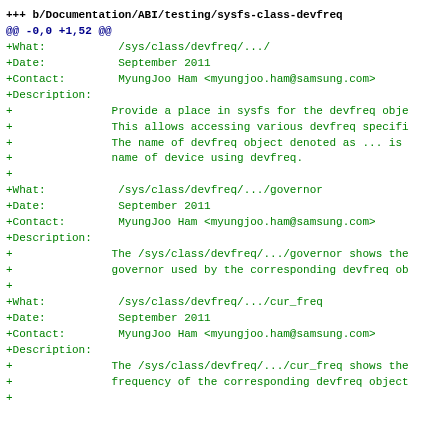+++ b/Documentation/ABI/testing/sysfs-class-devfreq
@@ -0,0 +1,52 @@
+What:           /sys/class/devfreq/.../
+Date:           September 2011
+Contact:        MyungJoo Ham <myungjoo.ham@samsung.com>
+Description:
+               Provide a place in sysfs for the devfreq obje
+               This allows accessing various devfreq specifi
+               The name of devfreq object denoted as ... is
+               name of device using devfreq.
+
+What:           /sys/class/devfreq/.../governor
+Date:           September 2011
+Contact:        MyungJoo Ham <myungjoo.ham@samsung.com>
+Description:
+               The /sys/class/devfreq/.../governor shows the
+               governor used by the corresponding devfreq ob
+
+What:           /sys/class/devfreq/.../cur_freq
+Date:           September 2011
+Contact:        MyungJoo Ham <myungjoo.ham@samsung.com>
+Description:
+               The /sys/class/devfreq/.../cur_freq shows the
+               frequency of the corresponding devfreq object
+